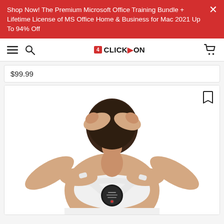Shop Now! The Premium Microsoft Office Training Bundle + Lifetime License of MS Office Home & Business for Mac 2021 Up To 94% Off
[Figure (logo): ClickOn website logo with shopping cart icon, hamburger menu, and search icon navigation bar]
$99.99
[Figure (photo): Person viewed from behind wearing a white posture corrector harness with a round black electronic device on their back, hands clasped behind their head]